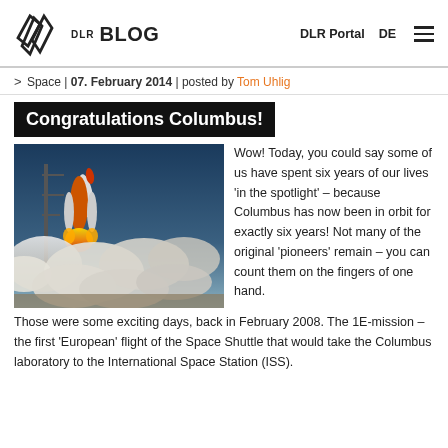DLR BLOG — DLR Portal | DE
> Space | 07. February 2014 | posted by Tom Uhlig
Congratulations Columbus!
[Figure (photo): Space Shuttle launch with large plumes of smoke and fire on the launch pad]
Wow! Today, you could say some of us have spent six years of our lives 'in the spotlight' – because Columbus has now been in orbit for exactly six years! Not many of the original 'pioneers' remain – you can count them on the fingers of one hand. Those were some exciting days, back in February 2008. The 1E-mission – the first 'European' flight of the Space Shuttle that would take the Columbus laboratory to the International Space Station (ISS).